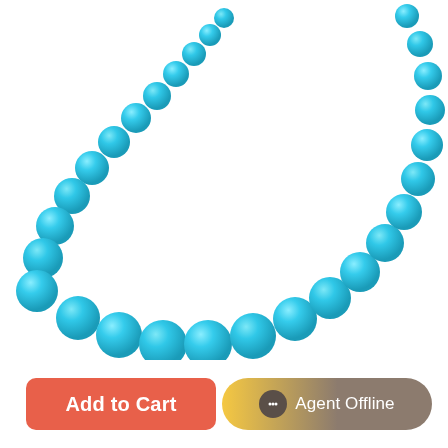[Figure (photo): A turquoise beaded necklace displayed in a V-shape against a white background. The beads are round, uniformly sized turquoise blue stones strung together in a graduated or uniform strand.]
Add to Cart
Agent Offline